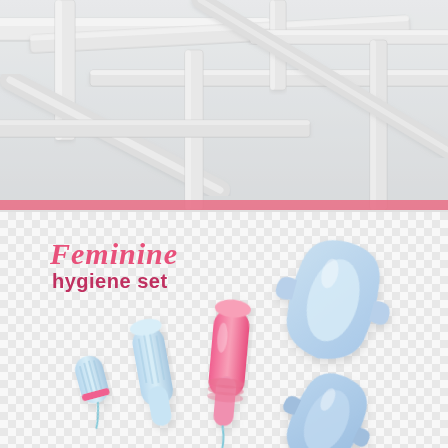[Figure (photo): White industrial ceiling with exposed pipes and ductwork, photographed from below at an angle. The pipes are white painted and cross in multiple directions against a bright white ceiling.]
[Figure (illustration): Feminine hygiene set illustration on a checkered transparent background. Shows tampons (a small blue tampon and a larger blue applicator tampon), a pink applicator tampon, and two blue sanitary pads of different sizes. Text reads 'Feminine hygiene set' in pink script and regular font.]